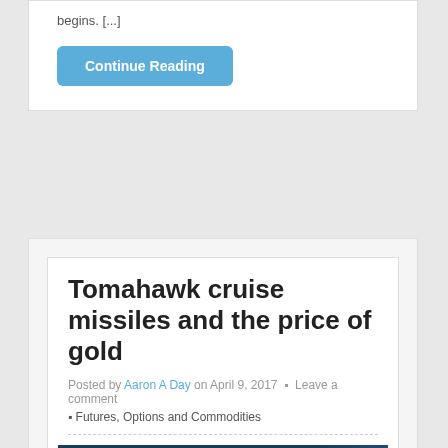begins. [...]
Continue Reading
Tomahawk cruise missiles and the price of gold
Posted by Aaron A Day on April 9, 2017 . Leave a comment
Futures, Options and Commodities
[Figure (photo): A warship launching a missile with a bright exhaust trail against a blue sky background]